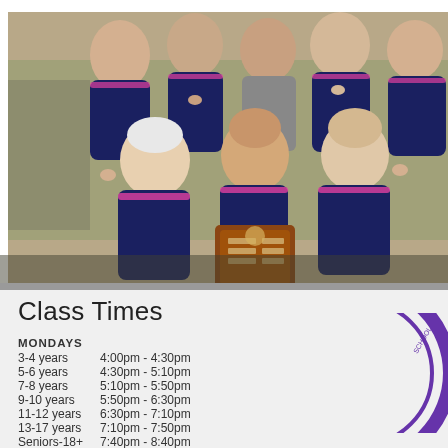[Figure (photo): Group photo of women's water polo or swimming team in navy and pink swimsuits, posing with a trophy/shield plaque outdoors]
Class Times
MONDAYS
3-4 years    4:00pm - 4:30pm
5-6 years    4:30pm - 5:10pm
7-8 years    5:10pm - 5:50pm
9-10 years   5:50pm - 6:30pm
11-12 years  6:30pm - 7:10pm
13-17 years  7:10pm - 7:50pm
Seniors-18+  7:40pm - 8:40pm
Ladies  25+  8:40pm - 9:40pm